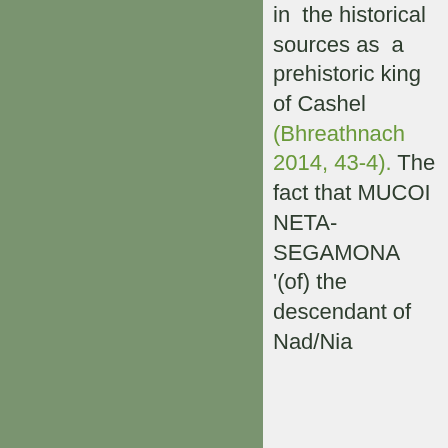in the historical sources as a prehistoric king of Cashel (Bhreathnach 2014, 43-4). The fact that MUCOI NETA-SEGAMONA '(of) the descendant of Nad/Nia